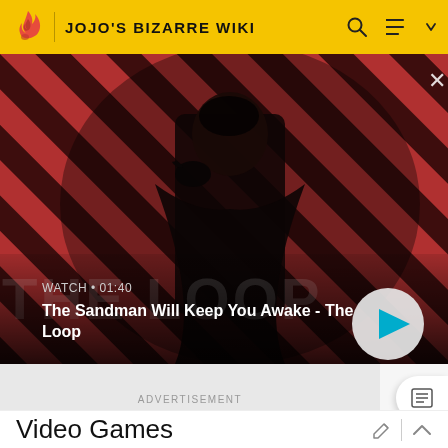JOJO'S BIZARRE WIKI
[Figure (screenshot): Video thumbnail for 'The Sandman Will Keep You Awake - The Loop' showing a dark figure with a crow on their shoulder against a red diagonal-striped background. Shows WATCH • 01:40 label and a play button.]
ADVERTISEMENT
Video Games
Versus appears in JoJo's Bizarre Adventure: All Star